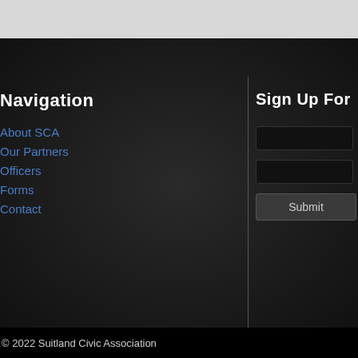Navigation
About SCA
Our Partners
Officers
Forms
Contact
Sign Up For
© 2022 Suitland Civic Association